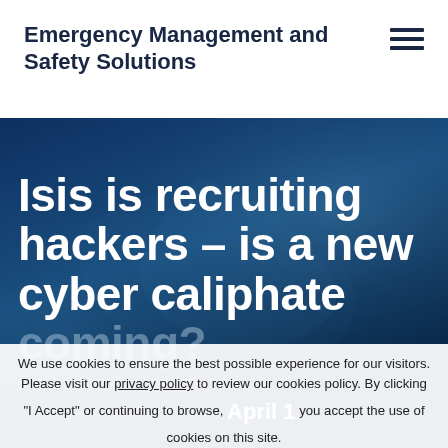Emergency Management and Safety Solutions
[Figure (screenshot): Hero image with dark blue background and abstract light smoke/wave patterns]
Isis is recruiting hackers – is a new cyber caliphate coming?
We use cookies to ensure the best possible experience for our visitors. Please visit our privacy policy to review our cookies policy. By clicking "I Accept" or continuing to browse, you accept the use of cookies on this site.
April 1...